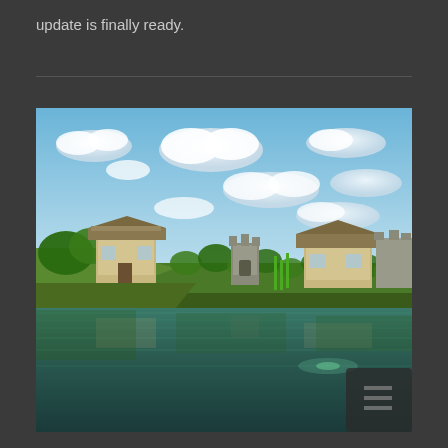update is finally ready.
[Figure (screenshot): Minecraft screenshot with ray-tracing or shaders showing a village scene near water with blocky clouds in a blue sky, green trees, wooden houses, and reflective water in the foreground]